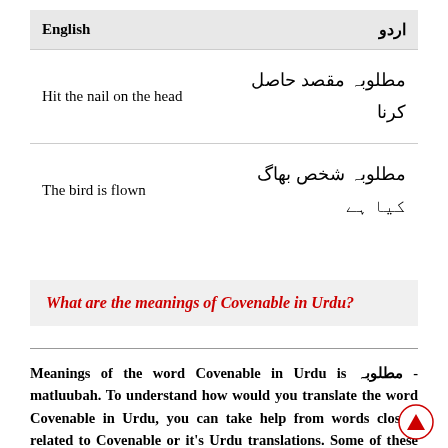| English | اردو |
| --- | --- |
| Hit the nail on the head | مطلوبہ مقصد حاصل کرنا |
| The bird is flown | مطلوبہ شخص بھاگ کیا ہے |
What are the meanings of Covenable in Urdu?
Meanings of the word Covenable in Urdu is مطلوبہ - matluubah. To understand how would you translate the word Covenable in Urdu, you can take help from words closely related to Covenable or it's Urdu translations. Some of these words can also be